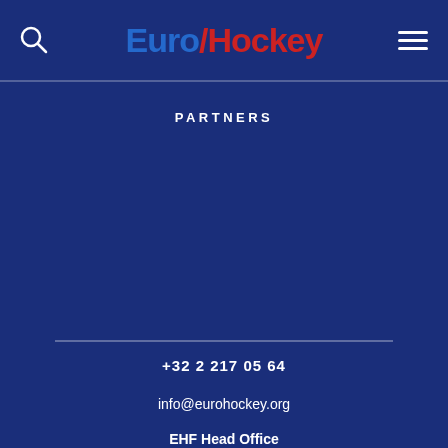EuroHockey
PARTNERS
+32 2 217 05 64
info@eurohockey.org
EHF Head Office